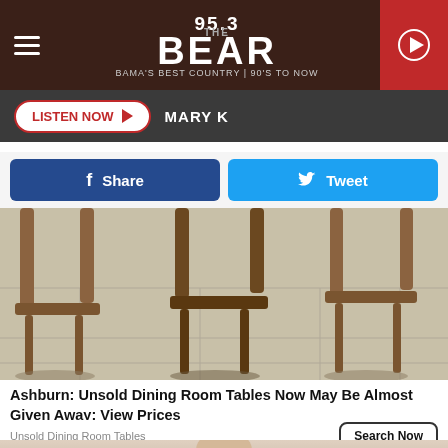95.3 THE BEAR — BAMA'S BEST COUNTRY | 90'S TO NOW
LISTEN NOW ▶  MARY K
[Figure (screenshot): Facebook Share button (dark blue) and Twitter Tweet button (light blue)]
[Figure (photo): Wooden dining room chairs on tiled floor, shot from below]
Ashburn: Unsold Dining Room Tables Now May Be Almost Given Away: View Prices
Unsold Dining Room Tables
[Figure (photo): Woman in sports bra and shorts holding a yellow object, fitness ad image]